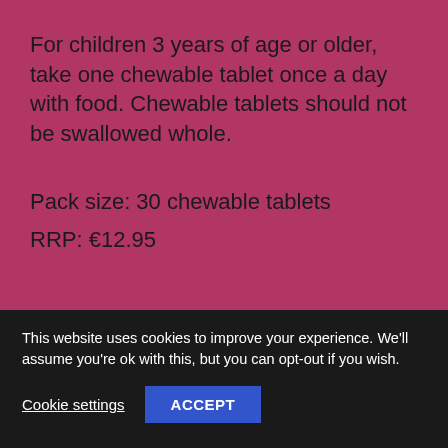For children 3 years of age or older, take one chewable tablet once a day with food. Chewable tablets should not be swallowed whole.
Pack size: 30 chewable tablets
RRP: €12.95
This website uses cookies to improve your experience. We'll assume you're ok with this, but you can opt-out if you wish.
Cookie settings
ACCEPT